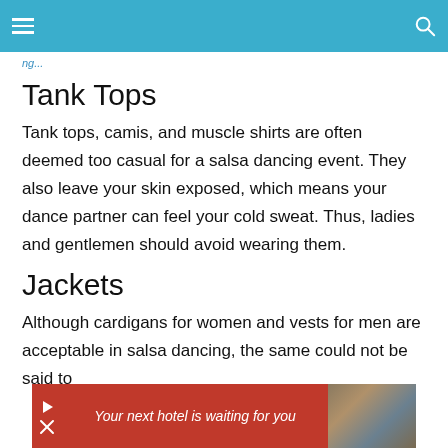Tank Tops
Tank tops, camis, and muscle shirts are often deemed too casual for a salsa dancing event. They also leave your skin exposed, which means your dance partner can feel your cold sweat. Thus, ladies and gentlemen should avoid wearing them.
Jackets
Although cardigans for women and vests for men are acceptable in salsa dancing, the same could not be said to
[Figure (other): Advertisement banner: red background with text 'Your next hotel is waiting for you' and a photo of a building/landscape, with forward and close buttons.]